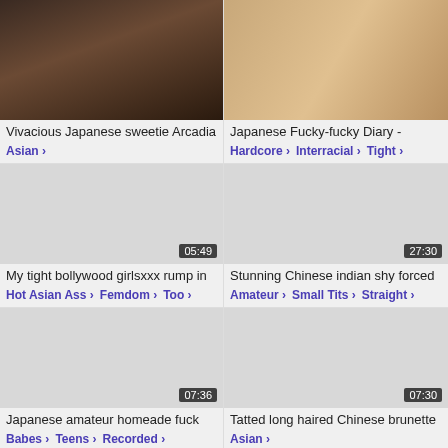[Figure (screenshot): Video thumbnail - dark tones adult content]
Vivacious Japanese sweetie Arcadia
Asian
[Figure (screenshot): Video thumbnail - warm tones adult content]
Japanese Fucky-fucky Diary -
Hardcore  Interracial  Tight
[Figure (screenshot): Video thumbnail gray, duration 05:49]
My tight bollywood girlsxxx rump in
Hot Asian Ass  Femdom  Too
[Figure (screenshot): Video thumbnail gray, duration 27:30]
Stunning Chinese indian shy forced
Amateur  Small Tits  Straight
[Figure (screenshot): Video thumbnail gray, duration 07:36]
Japanese amateur homeade fuck
Babes  Teens  Recorded
[Figure (screenshot): Video thumbnail gray, duration 07:30]
Tatted long haired Chinese brunette
Asian